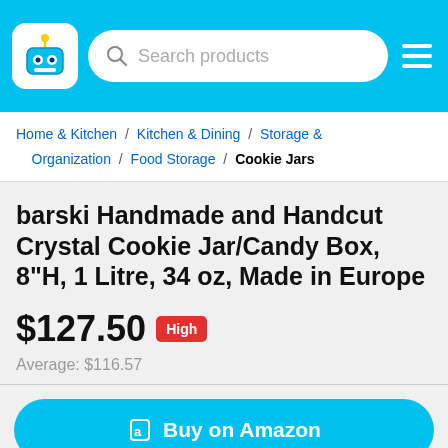Search products
Home & Kitchen / Kitchen & Dining / Storage & Organization / Food Storage / Cookie Jars
barski Handmade and Handcut Crystal Cookie Jar/Candy Box, 8"H, 1 Litre, 34 oz, Made in Europe
$127.50 High
Average: $116.57
Buy on Amazon
Start Watching